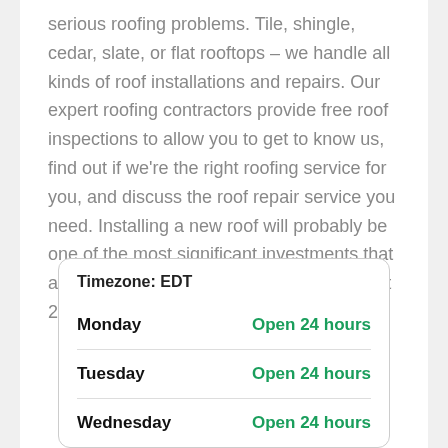serious roofing problems. Tile, shingle, cedar, slate, or flat rooftops – we handle all kinds of roof installations and repairs. Our expert roofing contractors provide free roof inspections to allow you to get to know us, find out if we're the right roofing service for you, and discuss the roof repair service you need. Installing a new roof will probably be one of the most significant investments that a property owner will make as it should last 20 to 30 years.
| Day | Hours |
| --- | --- |
| Timezone: EDT |  |
| Monday | Open 24 hours |
| Tuesday | Open 24 hours |
| Wednesday | Open 24 hours |